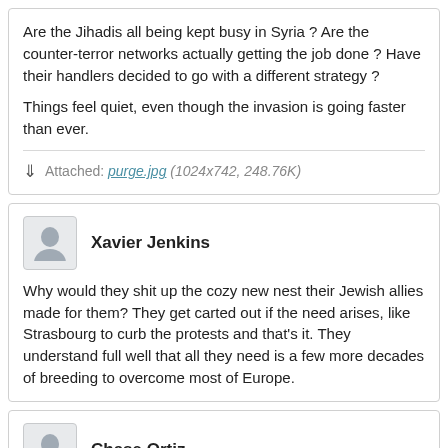Are the Jihadis all being kept busy in Syria ? Are the counter-terror networks actually getting the job done ? Have their handlers decided to go with a different strategy ?
Things feel quiet, even though the invasion is going faster than ever.
Attached: purge.jpg (1024x742, 248.76K)
Xavier Jenkins
Why would they shit up the cozy new nest their Jewish allies made for them? They get carted out if the need arises, like Strasbourg to curb the protests and that's it. They understand full well that all they need is a few more decades of breeding to overcome most of Europe.
Chase Ortiz
just go to thereligionofpeace.com